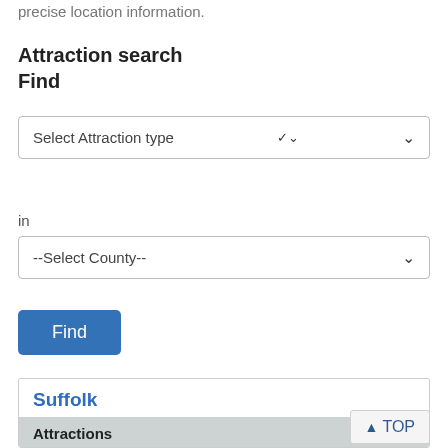precise location information.
Attraction search
Find
[Figure (screenshot): Dropdown selector labeled 'Select Attraction type' with chevron arrow]
in
[Figure (screenshot): Dropdown selector labeled '--Select County--' with chevron arrow]
[Figure (screenshot): Blue 'Find' button]
Suffolk
Attractions
All attractions
Attractions map
▲ TOP